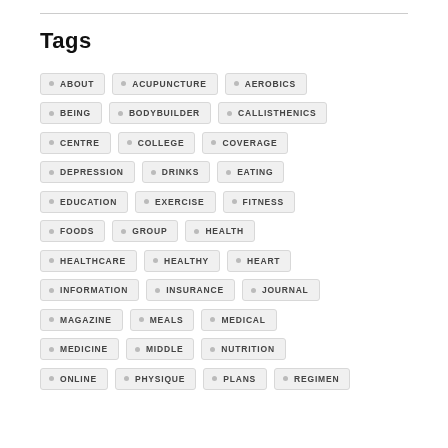Tags
ABOUT
ACUPUNCTURE
AEROBICS
BEING
BODYBUILDER
CALLISTHENICS
CENTRE
COLLEGE
COVERAGE
DEPRESSION
DRINKS
EATING
EDUCATION
EXERCISE
FITNESS
FOODS
GROUP
HEALTH
HEALTHCARE
HEALTHY
HEART
INFORMATION
INSURANCE
JOURNAL
MAGAZINE
MEALS
MEDICAL
MEDICINE
MIDDLE
NUTRITION
ONLINE
PHYSIQUE
PLANS
REGIMEN